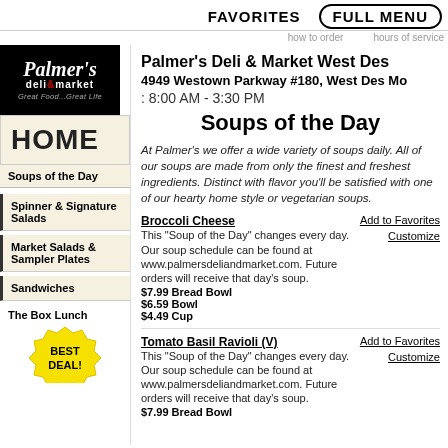FAVORITES   FULL MENU   how to order   hours of service
[Figure (logo): Palmer's deli & market logo, black background, white italic script text, red ampersand, tagline 'Great Food...Great Life']
HOME
Soups of the Day
Spinner & Signature Salads
Market Salads & Sampler Plates
Sandwiches
The Box Lunch
[Figure (illustration): Yellow star burst badge with bold black text 'BEST DEAL!']
Palmer's Deli & Market West Des
4949 Westown Parkway #180, West Des Mo
: 8:00 AM - 3:30 PM
Soups of the Day
At Palmer's we offer a wide variety of soups daily. All of our soups are made from only the finest and freshest ingredients. Distinct with flavor you'll be satisfied with one of our hearty home style or vegetarian soups.
Broccoli Cheese
This "Soup of the Day" changes every day. Our soup schedule can be found at www.palmersdeliandmarket.com. Future orders will receive that day's soup.
$7.99 Bread Bowl
$6.59 Bowl
$4.49 Cup
Add to Favorites
Customize
Tomato Basil Ravioli (V)
This "Soup of the Day" changes every day. Our soup schedule can be found at www.palmersdeliandmarket.com. Future orders will receive that day's soup.
$7.99 Bread Bowl
Add to Favorites
Customize